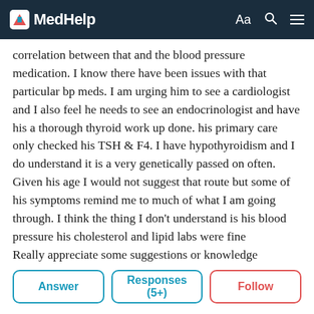MedHelp
correlation between that and the blood pressure medication. I know there have been issues with that particular bp meds. I am urging him to see a cardiologist and I also feel he needs to see an endocrinologist and have his a thorough thyroid work up done. his primary care only checked his TSH & F4. I have hypothyroidism and I do understand it is a very genetically passed on often. Given his age I would not suggest that route but some of his symptoms remind me to much of what I am going through. I think the thing I don't understand is his blood pressure his cholesterol and lipid labs were fine
Really appreciate some suggestions or knowledge